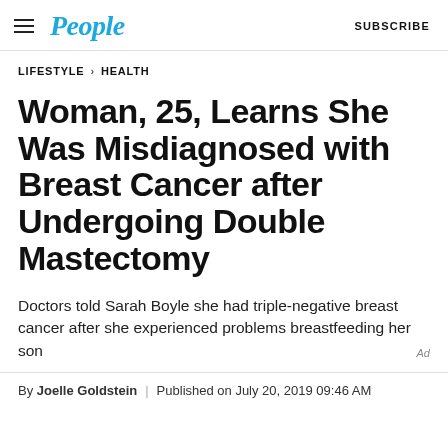People | SUBSCRIBE
LIFESTYLE > HEALTH
Woman, 25, Learns She Was Misdiagnosed with Breast Cancer after Undergoing Double Mastectomy
Doctors told Sarah Boyle she had triple-negative breast cancer after she experienced problems breastfeeding her son
By Joelle Goldstein | Published on July 20, 2019 09:46 AM